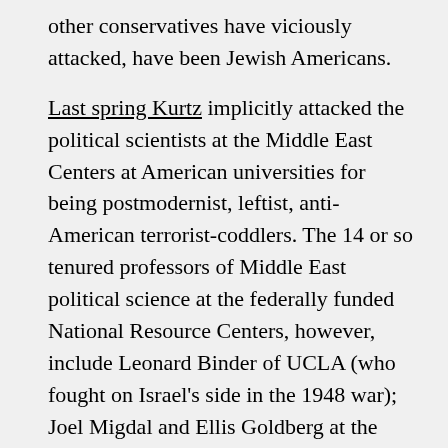other conservatives have viciously attacked, have been Jewish Americans.

Last spring Kurtz implicitly attacked the political scientists at the Middle East Centers at American universities for being postmodernist, leftist, anti-American terrorist-coddlers. The 14 or so tenured professors of Middle East political science at the federally funded National Resource Centers, however, include Leonard Binder of UCLA (who fought on Israel's side in the 1948 war); Joel Migdal and Ellis Goldberg at the University of Washington, Seattle (exponents of the New Institutionalism and Rational Choice, respectively);